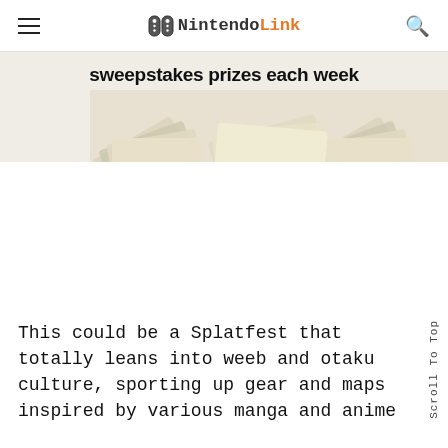e-NintendoLink
sweepstakes prizes each week
[Figure (photo): Partial banner image showing money/cash bills fanned out, associated with sweepstakes prizes each week promotional banner]
This could be a Splatfest that totally leans into weeb and otaku culture, sporting up gear and maps inspired by various manga and anime